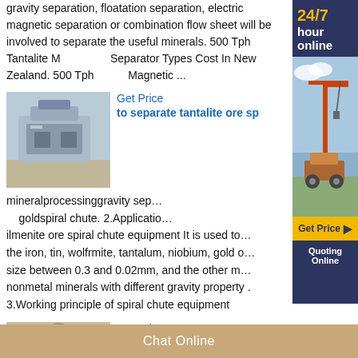gravity separation, floatation separation, electric magnetic separation or combination flow sheet will be involved to separate the useful minerals. 500 Tph Tantalite Magnetic Separator Types Cost In New Zealand. 500 Tph Magnetic ...
[Figure (photo): Photo of industrial mineral processing equipment (crusher/separator machine) in a facility]
Get Price
to separate tantalite ore sp
mineralprocessinggravity sep... goldspiral chute. 2.Application... ilmenite ore spiral chute equipment It is used to the iron, tin, wolfrmite, tantalum, niobium, gold o... size between 0.3 and 0.02mm, and the other m... nonmetal minerals with different gravity property . 3.Working principle of spiral chute equipment
[Figure (photo): Photo of industrial spiral chute or separator equipment]
Get Price
【slip separator tantalite separator】
[Figure (photo): Sidebar with 24/7 hour online label and crane/industrial equipment image, Get Price button, Quoting Online button]
Chat Online